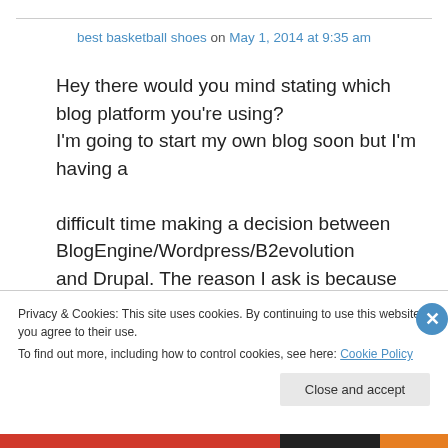best basketball shoes on May 1, 2014 at 9:35 am
Hey there would you mind stating which blog platform you're using? I'm going to start my own blog soon but I'm having a difficult time making a decision between BlogEngine/Wordpress/B2evolution and Drupal. The reason I ask is because your layout seems
Privacy & Cookies: This site uses cookies. By continuing to use this website, you agree to their use. To find out more, including how to control cookies, see here: Cookie Policy
Close and accept